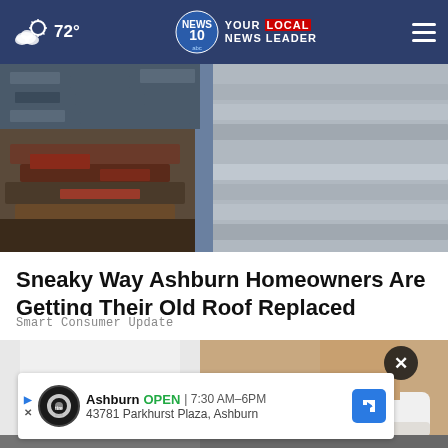72° | NEWS 10 YOUR LOCAL NEWS LEADER
[Figure (photo): Damaged roof shingles piled up, showing broken and displaced slate/asphalt tiles]
Sneaky Way Ashburn Homeowners Are Getting Their Old Roof Replaced
Smart Consumer Update
[Figure (photo): Close-up of a person's foot wearing a white slip-on shoe with gold embellishments]
Ashburn  OPEN | 7:30 AM–6PM
43781 Parkhurst Plaza, Ashburn